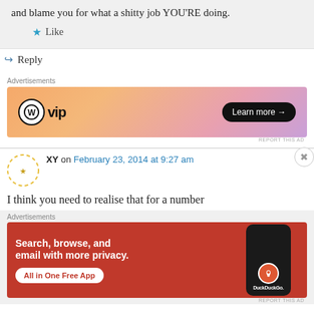and blame you for what a shitty job YOU'RE doing.
Like
Reply
[Figure (other): WordPress VIP advertisement banner with orange gradient background and 'Learn more' button]
REPORT THIS AD
XY on February 23, 2014 at 9:27 am
I think you need to realise that for a number
[Figure (other): DuckDuckGo advertisement banner: Search, browse, and email with more privacy. All in One Free App. Red background with phone mockup.]
REPORT THIS AD